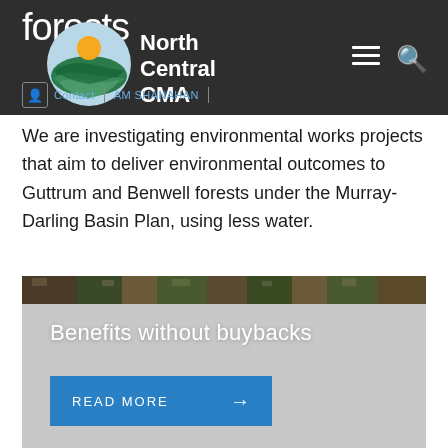forests
[Figure (logo): North Central CMA logo — circular icon with blue water waves, green land, and orange sun, with text 'North Central CMA' beside it]
We are investigating environmental works projects that aim to deliver environmental outcomes to Guttrum and Benwell forests under the Murray-Darling Basin Plan, using less water.
[Figure (photo): Card with forest canopy photo at top, white text 'Benefits without buybacks', and a blue 'READ MORE →' button below]
Benefits without buybacks
READ MORE →